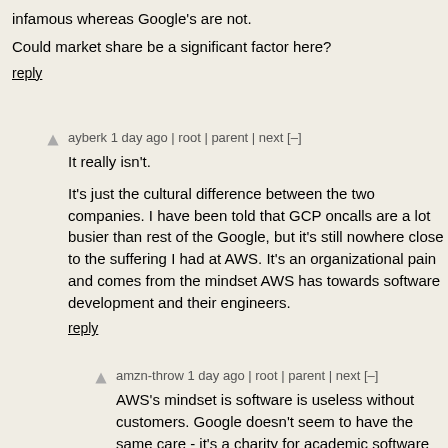infamous whereas Google's are not.
Could market share be a significant factor here?
reply
ayberk 1 day ago | root | parent | next [–]
It really isn't.
It's just the cultural difference between the two companies. I have been told that GCP oncalls are a lot busier than rest of the Google, but it's still nowhere close to the suffering I had at AWS. It's an organizational pain and comes from the mindset AWS has towards software development and their engineers.
reply
amzn-throw 1 day ago | root | parent | next [–]
AWS's mindset is software is useless without customers. Google doesn't seem to have the same care - it's a charity for academic software engineers to spend AdSense revenue on abstract high-level computer